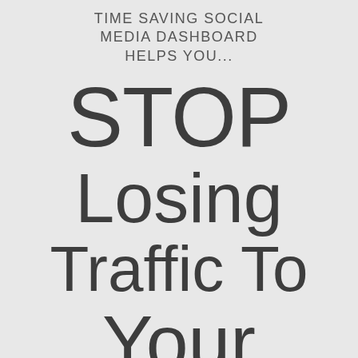TIME SAVING SOCIAL MEDIA DASHBOARD HELPS YOU...
STOP Losing Traffic To Your Competit